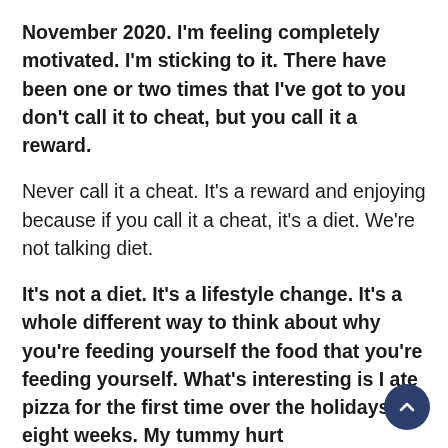November 2020. I'm feeling completely motivated. I'm sticking to it. There have been one or two times that I've got to you don't call it to cheat, but you call it a reward.
Never call it a cheat. It's a reward and enjoying because if you call it a cheat, it's a diet. We're not talking diet.
It's not a diet. It's a lifestyle change. It's a whole different way to think about why you're feeding yourself the food that you're feeding yourself. What's interesting is I ate pizza for the first time over the holidays in eight weeks. My tummy hurt